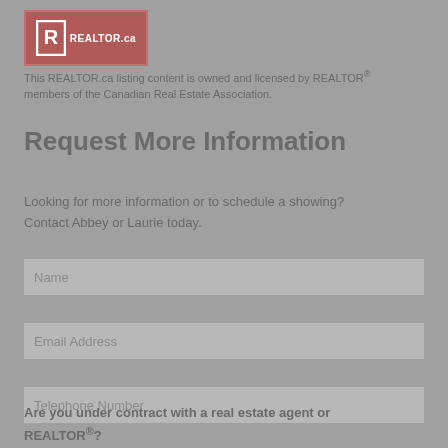[Figure (logo): REALTOR.ca logo — red/pink rectangular logo with 'R' icon and REALTOR.ca text in white on a muted red background]
This REALTOR.ca listing content is owned and licensed by REALTOR® members of the Canadian Real Estate Association.
Request More Information
Looking for more information or to schedule a showing? Contact Abbey or Laurie today.
Name
Email Address
Telephone Number
Are you under contract with a real estate agent or REALTOR®?